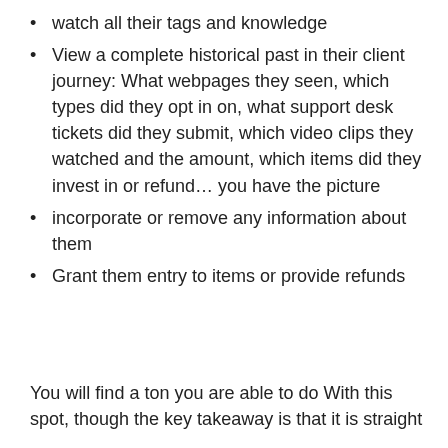watch all their tags and knowledge
View a complete historical past in their client journey: What webpages they seen, which types did they opt in on, what support desk tickets did they submit, which video clips they watched and the amount, which items did they invest in or refund… you have the picture
incorporate or remove any information about them
Grant them entry to items or provide refunds
You will find a ton you are able to do With this spot, though the key takeaway is that it is straight